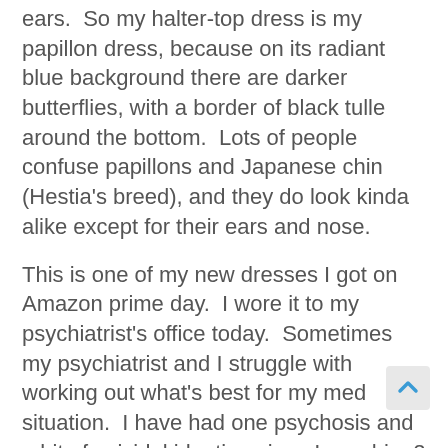ears.  So my halter-top dress is my papillon dress, because on its radiant blue background there are darker butterflies, with a border of black tulle around the bottom.  Lots of people confuse papillons and Japanese chin (Hestia's breed), and they do look kinda alike except for their ears and nose.
This is one of my new dresses I got on Amazon prime day.  I wore it to my psychiatrist's office today.  Sometimes my psychiatrist and I struggle with working out what's best for my med situation.  I have had one psychosis and a bit of suicidal ideation since I saw him 2 months ago.  He wanted to take me off the Prolixin (the only antipsychotic that both works and doesn't make me fat– it is an old school drug with tarditive diskenesia as a side effect).
I strongly said that I think Prolixin is working well for me, but maybe we could up the dose.  But we decided not to since we have DC and NYC trips coming up soon.  I don't want to